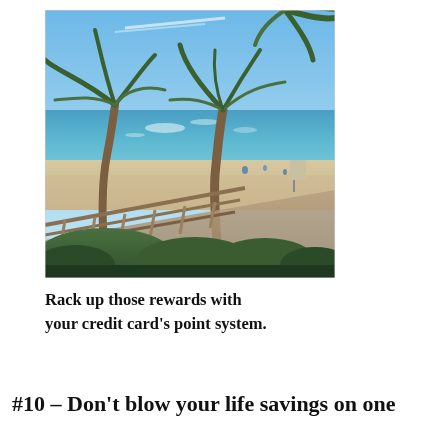[Figure (photo): Outdoor beach scene viewed from an elevated deck or balcony with a wooden railing/boardwalk, palm trees, sandy beach, ocean/bay water with sunlight reflecting on it, green shrubs below, blue sky. Tropical coastal vacation destination.]
Rack up those rewards with your credit card's point system.
#10 – Don't blow your life savings on one